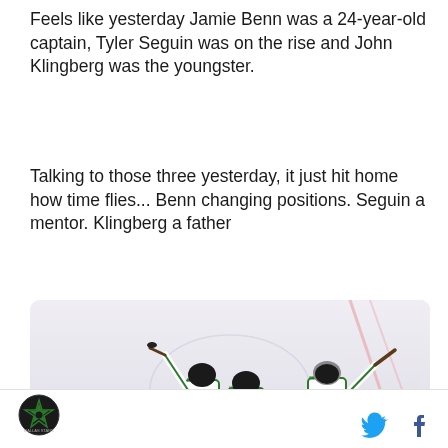Feels like yesterday Jamie Benn was a 24-year-old captain, Tyler Seguin was on the rise and John Klingberg was the youngster.
Talking to those three yesterday, it just hit home how time flies... Benn changing positions. Seguin a mentor. Klingberg a father
[Figure (photo): Dallas Stars hockey players celebrating on ice: player #14 (Benn) with arm raised, player #3 (Klingberg), and player #91 (Seguin) in white jerseys with green numbers.]
Dallas Stars logo icon | Twitter bird icon | Facebook f icon